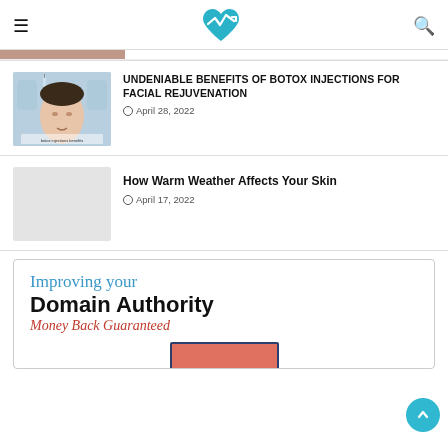Health website header with logo
[Figure (photo): Photo of a woman receiving botox injection on forehead by gloved hands]
UNDENIABLE BENEFITS OF BOTOX INJECTIONS FOR FACIAL REJUVENATION
April 28, 2022
[Figure (photo): Placeholder thumbnail image for warm weather article]
How Warm Weather Affects Your Skin
April 17, 2022
[Figure (infographic): Advertisement box: Improving your Domain Authority Money Back Guaranteed with a coral/red button graphic]